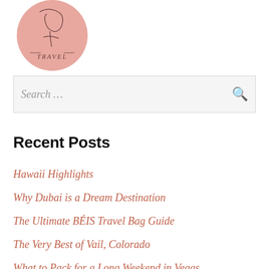[Figure (logo): Pink circular logo with handwritten-style text reading 'TRAVEL' and a line illustration inside]
Search …
Recent Posts
Hawaii Highlights
Why Dubai is a Dream Destination
The Ultimate BÉIS Travel Bag Guide
The Very Best of Vail, Colorado
What to Pack for a Long Weekend in Vegas